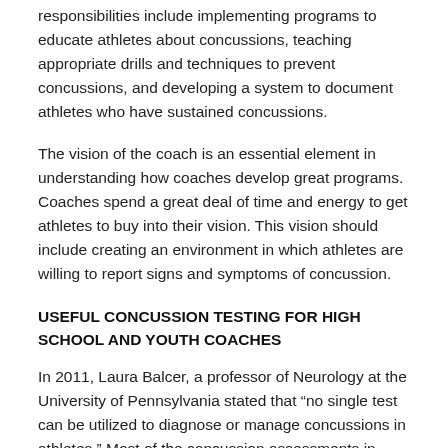responsibilities include implementing programs to educate athletes about concussions, teaching appropriate drills and techniques to prevent concussions, and developing a system to document athletes who have sustained concussions.
The vision of the coach is an essential element in understanding how coaches develop great programs. Coaches spend a great deal of time and energy to get athletes to buy into their vision. This vision should include creating an environment in which athletes are willing to report signs and symptoms of concussion.
USEFUL CONCUSSION TESTING FOR HIGH SCHOOL AND YOUTH COACHES
In 2011, Laura Balcer, a professor of Neurology at the University of Pennsylvania stated that “no single test can be utilized to diagnose or manage concussions in athletes.” Most of the concussion assessments in place are used evaluate an athlete’s readiness to return to competition. Research shows that detecting early signs of